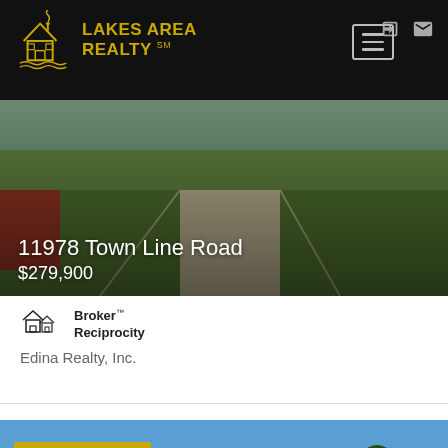[Figure (logo): Lakes Area Realty logo - gold house/lake illustration with text]
[Figure (photo): Aerial/driveway view of property at 11978 Town Line Road with green lawn]
11978 Town Line Road
$279,900
[Figure (logo): Broker Reciprocity logo - small house icon with text]
Broker Reciprocity
Edina Realty, Inc.
[Figure (photo): Photo of a large residential home exterior with blue sky - labeled MOST EXPENSIVE]